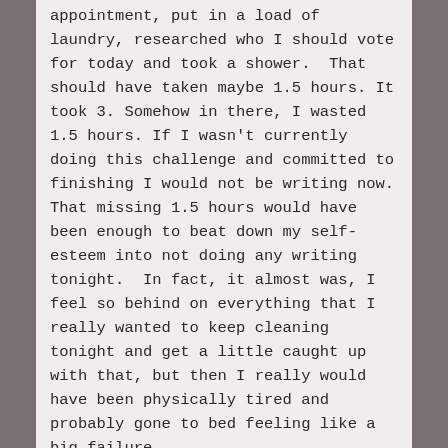appointment, put in a load of laundry, researched who I should vote for today and took a shower.  That should have taken maybe 1.5 hours. It took 3. Somehow in there, I wasted 1.5 hours. If I wasn't currently doing this challenge and committed to finishing I would not be writing now. That missing 1.5 hours would have been enough to beat down my self-esteem into not doing any writing tonight.  In fact, it almost was, I feel so behind on everything that I really wanted to keep cleaning tonight and get a little caught up with that, but then I really would have been physically tired and probably gone to bed feeling like a big failure.
The author of the book thinks a few days of making ourselves write will break this cycle